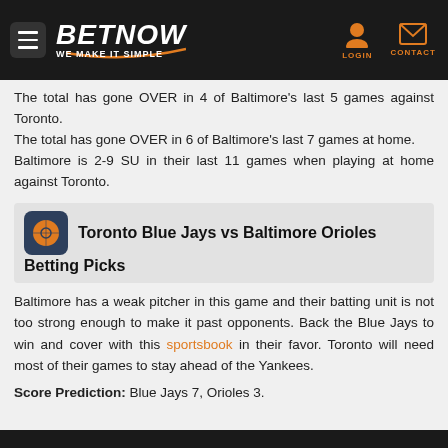BETNOW — WE MAKE IT SIMPLE — LOGIN — CONTACT
The total has gone OVER in 4 of Baltimore's last 5 games against Toronto. The total has gone OVER in 6 of Baltimore's last 7 games at home. Baltimore is 2-9 SU in their last 11 games when playing at home against Toronto.
Toronto Blue Jays vs Baltimore Orioles Betting Picks
Baltimore has a weak pitcher in this game and their batting unit is not too strong enough to make it past opponents. Back the Blue Jays to win and cover with this sportsbook in their favor. Toronto will need most of their games to stay ahead of the Yankees.
Score Prediction: Blue Jays 7, Orioles 3.